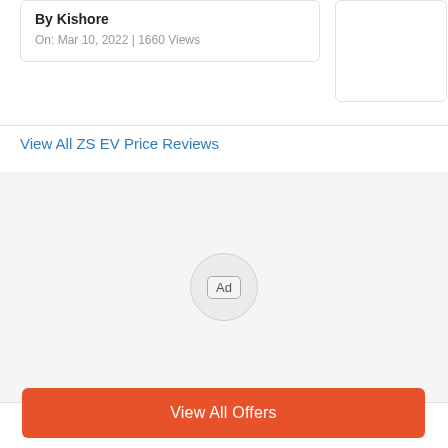By Kishore
On: Mar 10, 2022 | 1660 Views
View All ZS EV Price Reviews
[Figure (other): Advertisement placeholder circle with 'Ad' badge label on light gray background]
View All Offers